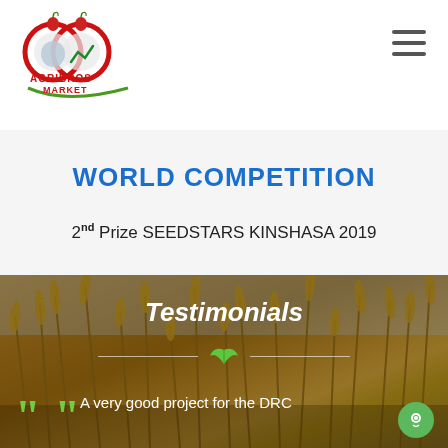[Figure (logo): Agribros Market logo with red circular design, apples, and green text]
WORLD COMPETITION
2nd Prize SEEDSTARS KINSHASA 2019
[Figure (photo): Golden wheat stalks background photo]
Testimonials
A very good project for the DRC